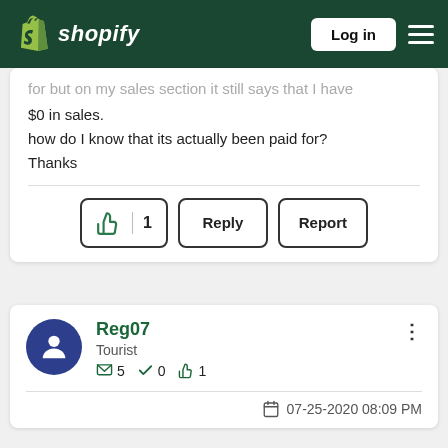shopify Log in
for but on my sales section it still says that I have $0 in sales.
how do I know that its actually been paid for?
Thanks
👍 1  Reply  Report
Reg07
Tourist
5  0  1
07-25-2020 08:09 PM